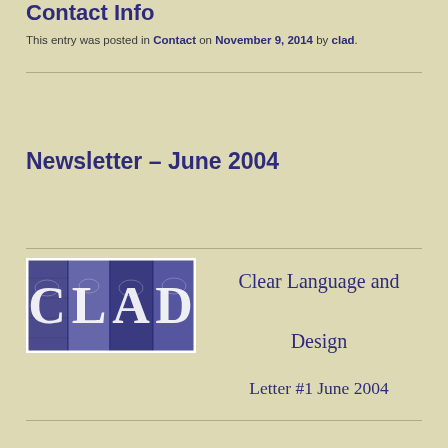Contact Info
This entry was posted in Contact on November 9, 2014 by clad.
Newsletter – June 2004
[Figure (logo): CLAD logo — stylized letters C, L, A, D in purple/blue tile squares with decorative imagery]
Clear Language and Design
Letter  #1 June 2004